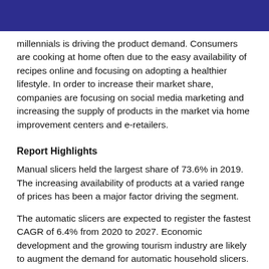millennials is driving the product demand. Consumers are cooking at home often due to the easy availability of recipes online and focusing on adopting a healthier lifestyle. In order to increase their market share, companies are focusing on social media marketing and increasing the supply of products in the market via home improvement centers and e-retailers.
Report Highlights
Manual slicers held the largest share of 73.6% in 2019. The increasing availability of products at a varied range of prices has been a major factor driving the segment.
The automatic slicers are expected to register the fastest CAGR of 6.4% from 2020 to 2027. Economic development and the growing tourism industry are likely to augment the demand for automatic household slicers.
The offline channel of distribution led the market and